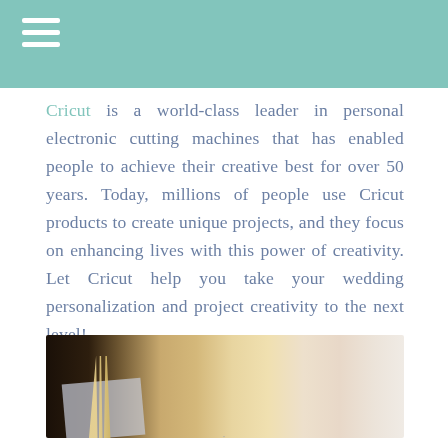Cricut is a world-class leader in personal electronic cutting machines that has enabled people to achieve their creative best for over 50 years. Today, millions of people use Cricut products to create unique projects, and they focus on enhancing lives with this power of creativity. Let Cricut help you take your wedding personalization and project creativity to the next level!
[Figure (photo): Close-up blurred photo of a wedding table setting with gold cutlery (fork) on a grey napkin, a gold charger plate, and a white dinner plate in soft focus.]